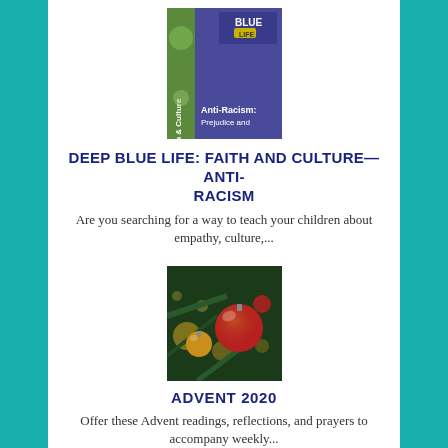[Figure (illustration): Book cover for Deep Blue Life: Faith and Culture – Anti-Racism. Shows a purple/blue cover with 'BLUE LIFE' logo and text 'Anti-Racism: Prejudice and', with a green nature strip on the left side reading 'Faith & Culture'.]
DEEP BLUE LIFE: FAITH AND CULTURE—ANTI-RACISM
Are you searching for a way to teach your children about empathy, culture,...
[Figure (photo): Close-up photograph of a Christmas tree with red and gold ornament baubles and bokeh lights in the background.]
ADVENT 2020
Offer these Advent readings, reflections, and prayers to accompany weekly...